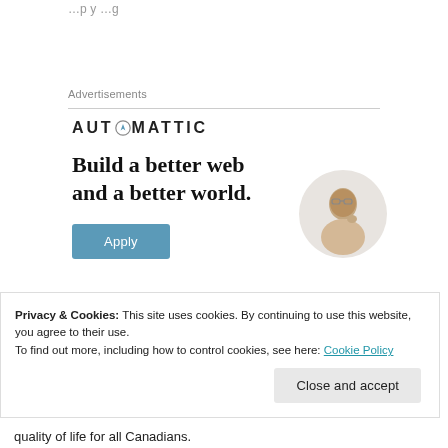…p y …g
Advertisements
[Figure (logo): Automattic logo with compass icon in letter O]
[Figure (infographic): Automattic advertisement: 'Build a better web and a better world.' with Apply button and photo of man thinking]
Privacy & Cookies: This site uses cookies. By continuing to use this website, you agree to their use.
To find out more, including how to control cookies, see here: Cookie Policy
Close and accept
quality of life for all Canadians.